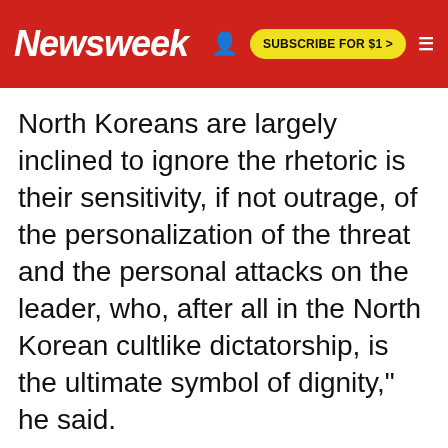Newsweek | SUBSCRIBE FOR $1 >
North Koreans are largely inclined to ignore the rhetoric is their sensitivity, if not outrage, of the personalization of the threat and the personal attacks on the leader, who, after all in the North Korean cultlike dictatorship, is the ultimate symbol of dignity," he said.